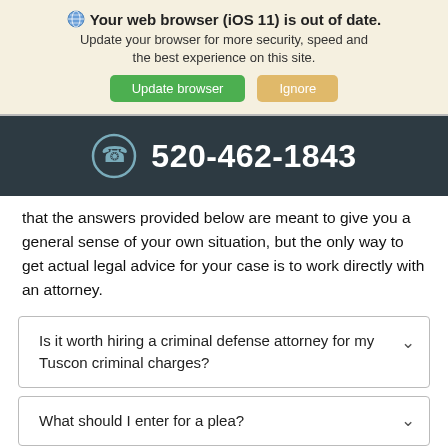Your web browser (iOS 11) is out of date. Update your browser for more security, speed and the best experience on this site. [Update browser] [Ignore]
520-462-1843
that the answers provided below are meant to give you a general sense of your own situation, but the only way to get actual legal advice for your case is to work directly with an attorney.
Is it worth hiring a criminal defense attorney for my Tuscon criminal charges?
What should I enter for a plea?